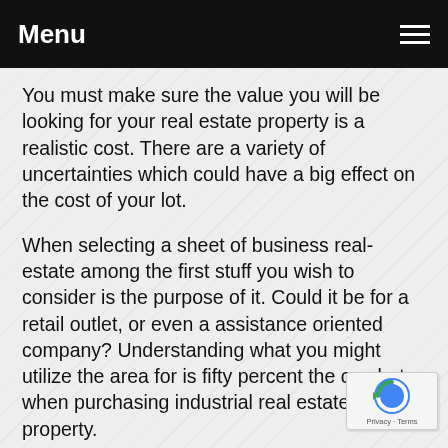Menu
You must make sure the value you will be looking for your real estate property is a realistic cost. There are a variety of uncertainties which could have a big effect on the cost of your lot.
When selecting a sheet of business real-estate among the first stuff you wish to consider is the purpose of it. Could it be for a retail outlet, or even a assistance oriented company? Understanding what you might utilize the area for is fifty percent the combat when purchasing industrial real estate property.
Be Discover The Industrial Real Estate Tactics Of The Professionals that you study posts and blogs of the be...